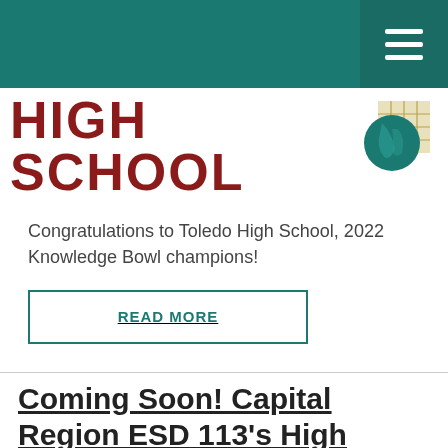HIGH SCHOOL
Congratulations to Toledo High School, 2022 Knowledge Bowl champions!
READ MORE
Coming Soon! Capital Region ESD 113's High School Art Show